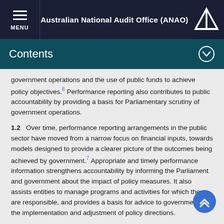Australian National Audit Office (ANAO)
Contents
government operations and the use of public funds to achieve policy objectives.6 Performance reporting also contributes to public accountability by providing a basis for Parliamentary scrutiny of government operations.
1.2 Over time, performance reporting arrangements in the public sector have moved from a narrow focus on financial inputs, towards models designed to provide a clearer picture of the outcomes being achieved by government.7 Appropriate and timely performance information strengthens accountability by informing the Parliament and government about the impact of policy measures. It also assists entities to manage programs and activities for which they are responsible, and provides a basis for advice to government on the implementation and adjustment of policy directions.